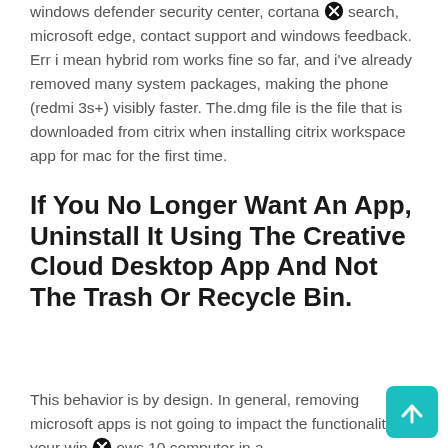windows defender security center, cortana search, microsoft edge, contact support and windows feedback. Err i mean hybrid rom works fine so far, and i've already removed many system packages, making the phone (redmi 3s+) visibly faster. The.dmg file is the file that is downloaded from citrix when installing citrix workspace app for mac for the first time.
If You No Longer Want An App, Uninstall It Using The Creative Cloud Desktop App And Not The Trash Or Recycle Bin.
This behavior is by design. In general, removing microsoft apps is not going to impact the functionality of your windows 10 computer in a